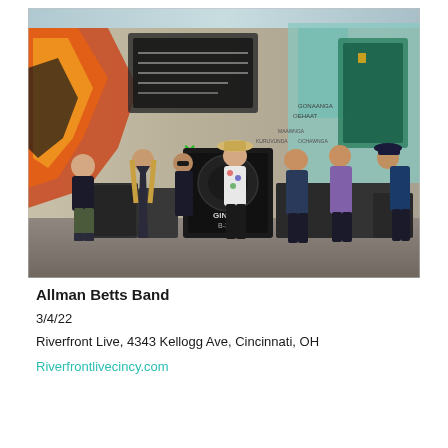[Figure (photo): Group photo of the Allman Betts Band standing outdoors in front of a colorful mural wall with road equipment cases. Seven band members of varying styles stand in a loosely grouped formation in what appears to be an alley or loading area.]
Allman Betts Band
3/4/22
Riverfront Live, 4343 Kellogg Ave, Cincinnati, OH
Riverfrontlivecincy.com